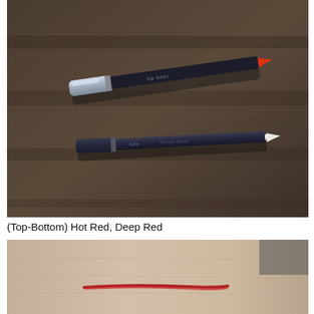[Figure (photo): Two lip liner pencils photographed on a dark brown fabric background. The top pencil has a silver cap and shows a red tip. The bottom pencil is darker/navy with a white/pale tip.]
(Top-Bottom) Hot Red, Deep Red
[Figure (photo): Swatch of a red lip liner drawn on skin (wrist/hand), showing a single red line swatch against pale skin.]